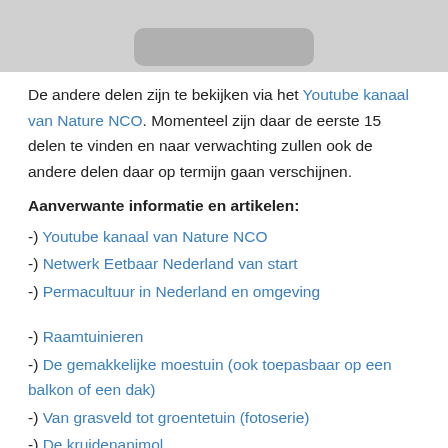[Figure (photo): Cropped photo showing a grey/blurred image at the top of the page]
De andere delen zijn te bekijken via het Youtube kanaal van Nature NCO. Momenteel zijn daar de eerste 15 delen te vinden en naar verwachting zullen ook de andere delen daar op termijn gaan verschijnen.
Aanverwante informatie en artikelen:
-) Youtube kanaal van Nature NCO
-) Netwerk Eetbaar Nederland van start
-) Permacultuur in Nederland en omgeving
-) Raamtuinieren
-) De gemakkelijke moestuin (ook toepasbaar op een balkon of een dak)
-) Van grasveld tot groentetuin (fotoserie)
-) De kruidenanimol